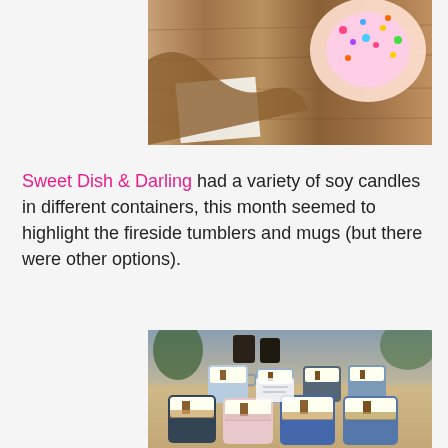[Figure (photo): Partial top photo showing a wooden surface/board with what appears to be decorated donuts or baked goods with colorful sprinkles, cut off at the top of the page]
Sweet Dish & Darling had a variety of soy candles in different containers, this month seemed to highlight the fireside tumblers and mugs (but there were other options).
[Figure (photo): Photo of a display table with multiple soy candles in blue-and-white speckled mugs and tumblers with wooden wicks and rope/jute wrapping, arranged on a wooden surface at what appears to be a market or craft fair]